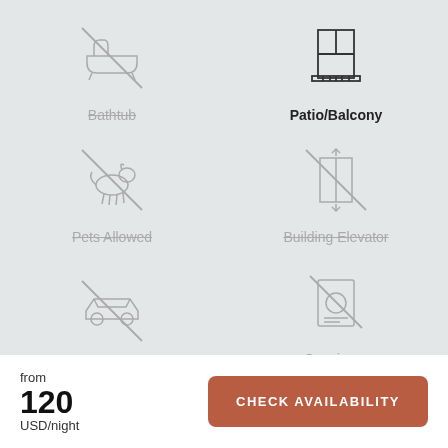[Figure (infographic): Bathtub icon with strikethrough diagonal line, indicating amenity not available]
Bathtub
[Figure (infographic): Patio/Balcony icon (door with railing), indicating amenity available]
Patio/Balcony
[Figure (infographic): Pets Allowed icon (dog silhouette) with strikethrough diagonal line]
Pets Allowed
[Figure (infographic): Building Elevator icon with strikethrough diagonal line]
Building Elevator
[Figure (infographic): Free Parking icon (car) with strikethrough diagonal line]
Free Parking
[Figure (infographic): Concierge Services icon (bell/document) with strikethrough diagonal line]
Concierge Services
from
120
USD/night
CHECK AVAILABILITY